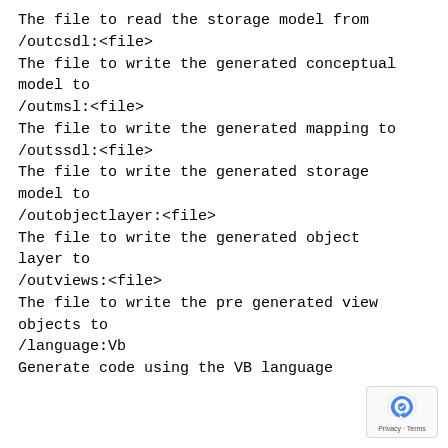The file to read the storage model from
/outcsdl:<file>
The file to write the generated conceptual model to
/outmsl:<file>
The file to write the generated mapping to
/outssdl:<file>
The file to write the generated storage model to
/outobjectlayer:<file>
The file to write the generated object layer to
/outviews:<file>
The file to write the pre generated view objects to
/language:Vb
Generate code using the VB language